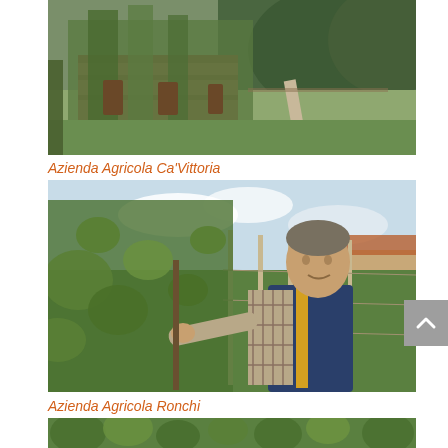[Figure (photo): Outdoor vineyard/garden scene with ivy-covered stone wall and rural landscape with fields and forest in the background]
Azienda Agricola Ca'Vittoria
[Figure (photo): A man in a blue vest and plaid shirt tending to grape vines in a vineyard, reaching out to touch/inspect the vines. A building is visible in the background.]
Azienda Agricola Ronchi
[Figure (photo): Bottom portion of another vineyard or agricultural scene, partially visible]